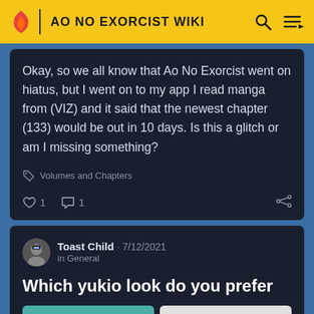AO NO EXORCIST WIKI
Okay, so we all know that Ao No Exorcist went on hiatus, but I went on to my app I read manga from (VIZ) and it said that the newest chapter (133) would be out in 10 days. Is this a glitch or am I missing something?
Volumes and Chapters
1   1
Toast Child · 7/12/2021
in General
Which yukio look do you prefer
[Figure (illustration): Two anime-style illustrations of Yukio side by side — one colored (green background) and one in black and white]